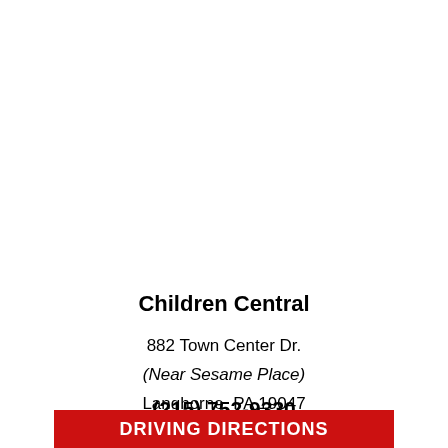Children Central
882 Town Center Dr.
(Near Sesame Place)
Langhorne, PA 19047
(215) 752-9330
DRIVING DIRECTIONS